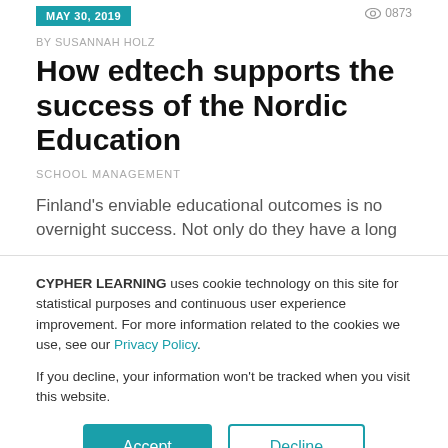MAY 30, 2019
BY SUSANNAH HOLZ
How edtech supports the success of the Nordic Education
SCHOOL MANAGEMENT
Finland's enviable educational outcomes is no overnight success. Not only do they have a long
CYPHER LEARNING uses cookie technology on this site for statistical purposes and continuous user experience improvement. For more information related to the cookies we use, see our Privacy Policy.

If you decline, your information won't be tracked when you visit this website.